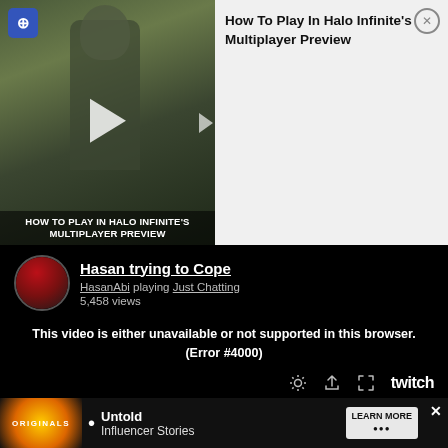[Figure (screenshot): Video thumbnail showing Halo Infinite game scene with text overlay 'HOW TO PLAY IN HALO INFINITE'S MULTIPLAYER PREVIEW']
How To Play In Halo Infinite's Multiplayer Preview
[Figure (screenshot): Twitch stream embed showing HasanAbi stream titled 'Hasan trying to Cope' playing Just Chatting with 5,458 views. Error message: 'This video is either unavailable or not supported in this browser. (Error #4000)'. Twitch player controls shown at bottom.]
But despite that, and despite the fact some Joe Rogan fans expressed a desire not to have him on the show, many o
[Figure (screenshot): Advertisement banner for 'Untold Influencer Stories' with ORIGINALS logo and LEARN MORE button]